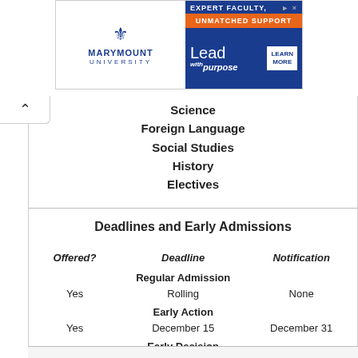[Figure (illustration): Marymount University advertisement banner with fleur-de-lis logo and 'Lead with purpose' tagline on blue background with orange accent bar]
Science
Foreign Language
Social Studies
History
Electives
Deadlines and Early Admissions
| Offered? | Deadline | Notification |
| --- | --- | --- |
|  | Regular Admission |  |
| Yes | Rolling | None |
|  | Early Action |  |
| Yes | December 15 | December 31 |
|  | Early Decision |  |
| No |  |  |